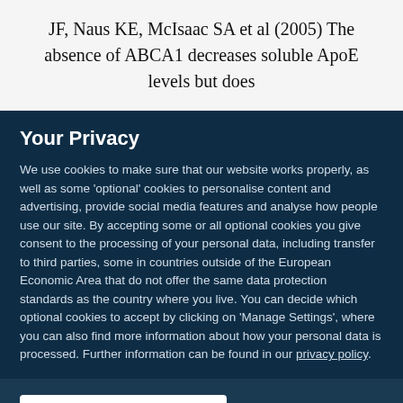JF, Naus KE, McIsaac SA et al (2005) The absence of ABCA1 decreases soluble ApoE levels but does
Your Privacy
We use cookies to make sure that our website works properly, as well as some ‘optional’ cookies to personalise content and advertising, provide social media features and analyse how people use our site. By accepting some or all optional cookies you give consent to the processing of your personal data, including transfer to third parties, some in countries outside of the European Economic Area that do not offer the same data protection standards as the country where you live. You can decide which optional cookies to accept by clicking on ‘Manage Settings’, where you can also find more information about how your personal data is processed. Further information can be found in our privacy policy.
Accept all cookies
Manage preferences